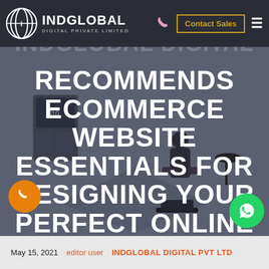INDGLOBAL DIGITAL PRIVATE LIMITED — Contact Sales
[Figure (illustration): Isometric ecommerce store illustration with person at computer, product displays, and shopping scene on dark blue-gray background]
RECOMMENDS ECOMMERCE WEBSITE ESSENTIALS FOR DESIGNING YOUR PERFECT ONLINE STORE
May 15, 2021   editor user   INDGLOBAL DIGITAL PVT LTD